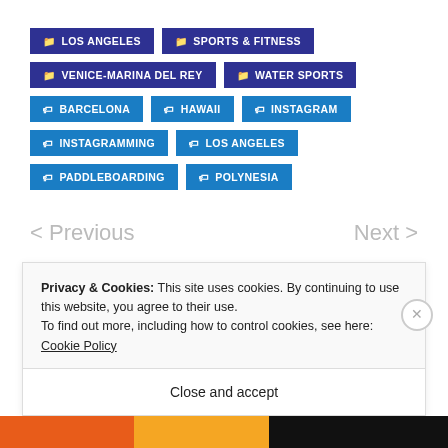📁 LOS ANGELES
📁 SPORTS & FITNESS
📁 VENICE-MARINA DEL REY
📁 WATER SPORTS
🏷 BARCELONA
🏷 HAWAII
🏷 INSTAGRAM
🏷 INSTAGRAMMING
🏷 LOS ANGELES
🏷 PADDLEBOARDING
🏷 POLYNESIA
< Previous    Next >
Privacy & Cookies: This site uses cookies. By continuing to use this website, you agree to their use. To find out more, including how to control cookies, see here: Cookie Policy
Close and accept